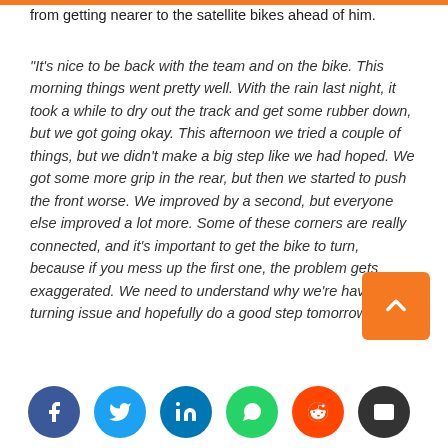from getting nearer to the satellite bikes ahead of him.
“It’s nice to be back with the team and on the bike. This morning things went pretty well. With the rain last night, it took a while to dry out the track and get some rubber down, but we got going okay. This afternoon we tried a couple of things, but we didn’t make a big step like we had hoped. We got some more grip in the rear, but then we started to push the front worse. We improved by a second, but everyone else improved a lot more. Some of these corners are really connected, and it’s important to get the bike to turn, because if you mess up the first one, the problem gets exaggerated. We need to understand why we’re having this turning issue and hopefully do a good step tomorrow.”